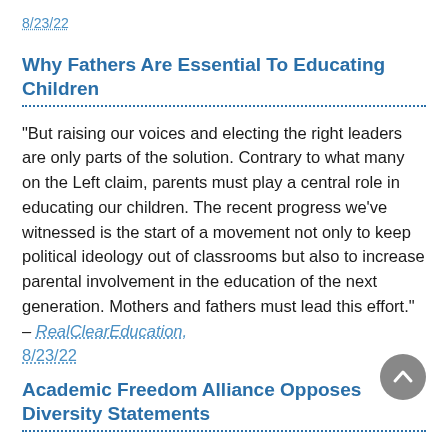8/23/22
Why Fathers Are Essential To Educating Children
"But raising our voices and electing the right leaders are only parts of the solution. Contrary to what many on the Left claim, parents must play a central role in educating our children. The recent progress we’ve witnessed is the start of a movement not only to keep political ideology out of classrooms but also to increase parental involvement in the education of the next generation. Mothers and fathers must lead this effort." – RealClearEducation, 8/23/22
Academic Freedom Alliance Opposes Diversity Statements
"The Academic Freedom Alliance on Monday released a